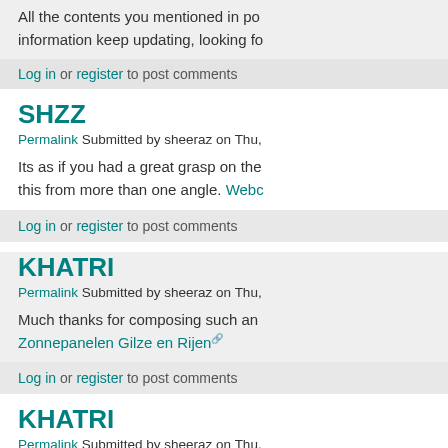All the contents you mentioned in po information keep updating, looking fo
Log in or register to post comments
SHZZ
Permalink Submitted by sheeraz on Thu,
Its as if you had a great grasp on the this from more than one angle. Webc
Log in or register to post comments
KHATRI
Permalink Submitted by sheeraz on Thu,
Much thanks for composing such an Zonnepanelen Gilze en Rijen
Log in or register to post comments
KHATRI
Permalink Submitted by sheeraz on Thu,
I would be practicing to d...